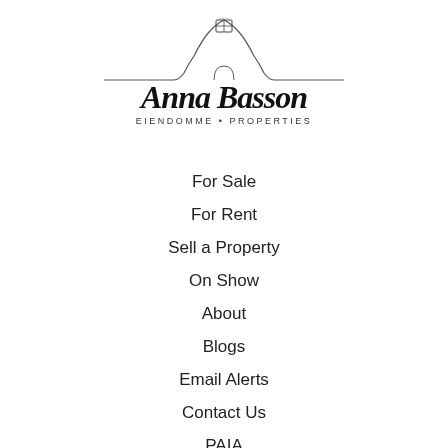[Figure (logo): Anna Basson Eiendomme Properties logo with Cape Dutch gable building silhouette and script lettering]
For Sale
For Rent
Sell a Property
On Show
About
Blogs
Email Alerts
Contact Us
PAIA
POPIA
Privacy Policy